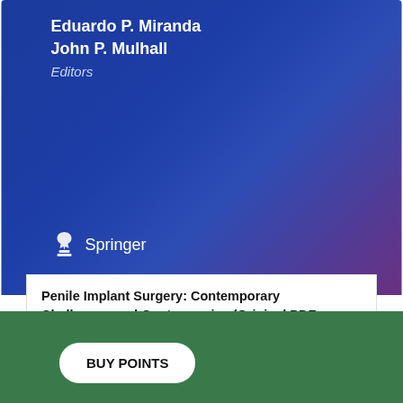[Figure (illustration): Book cover with dark blue/purple gradient background showing editor names Eduardo P. Miranda and John P. Mulhall with Editors label and Springer publisher logo]
Penile Implant Surgery: Contemporary Challenges and Controversies (Original PDF from Publisher)
AfkEbooks
24/05/2022   $168.12  $1
BUY POINTS